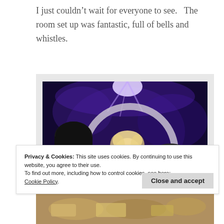I just couldn’t wait for everyone to see.   The room set up was fantastic, full of bells and whistles.
[Figure (photo): Indoor event photo with purple/blue stage lighting. Three people visible: a person with dark hair on the left, a woman in white/light colored jacket smiling in the center, and a man wearing a baseball cap in white clothing on the right. A large circular arch structure is visible in the background.]
Privacy & Cookies: This site uses cookies. By continuing to use this website, you agree to their use.
To find out more, including how to control cookies, see here:
Cookie Policy.